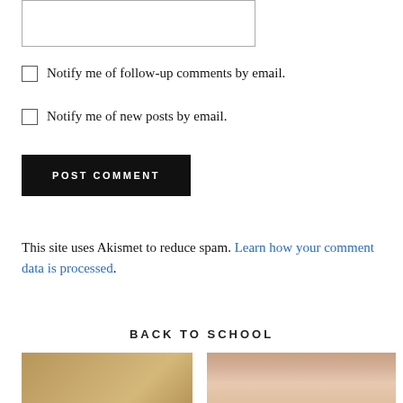[input box]
Notify me of follow-up comments by email.
Notify me of new posts by email.
POST COMMENT
This site uses Akismet to reduce spam. Learn how your comment data is processed.
BACK TO SCHOOL
[Figure (photo): Two thumbnail photos side by side: left shows a cork/corkboard texture, right shows a woman with brunette hair]